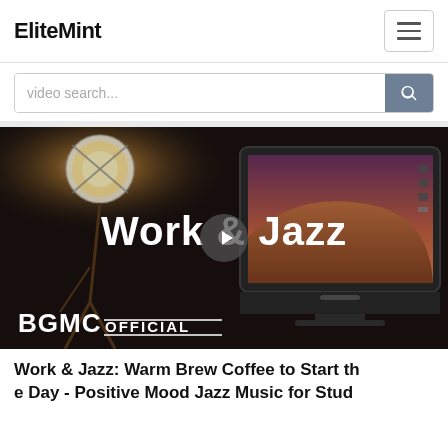EliteMint
[Figure (screenshot): Video thumbnail showing a dark room with a vintage lamp and an iMac displaying a desert landscape. Large white text overlay reads 'Work & Jazz' with a play button in the center. BGMC OFFICIAL logo in bottom left.]
Work & Jazz: Warm Brew Coffee to Start the Day - Positive Mood Jazz Music for Stud